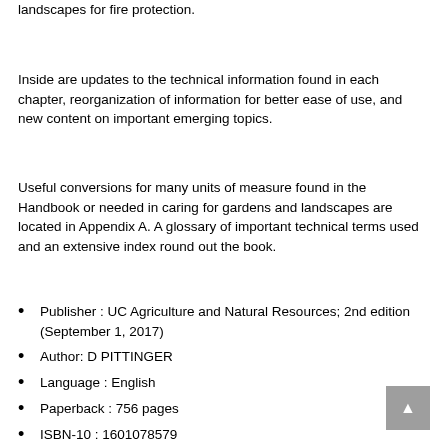landscapes for fire protection.
Inside are updates to the technical information found in each chapter, reorganization of information for better ease of use, and new content on important emerging topics.
Useful conversions for many units of measure found in the Handbook or needed in caring for gardens and landscapes are located in Appendix A. A glossary of important technical terms used and an extensive index round out the book.
Publisher : UC Agriculture and Natural Resources; 2nd edition (September 1, 2017)
Author: D PITTINGER
Language : English
Paperback : 756 pages
ISBN-10 : 1601078579
ISBN-13 : 978-1601078575